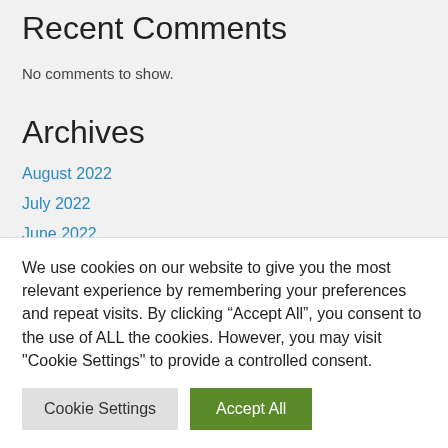Recent Comments
No comments to show.
Archives
August 2022
July 2022
June 2022
May 2022
We use cookies on our website to give you the most relevant experience by remembering your preferences and repeat visits. By clicking “Accept All”, you consent to the use of ALL the cookies. However, you may visit "Cookie Settings" to provide a controlled consent.